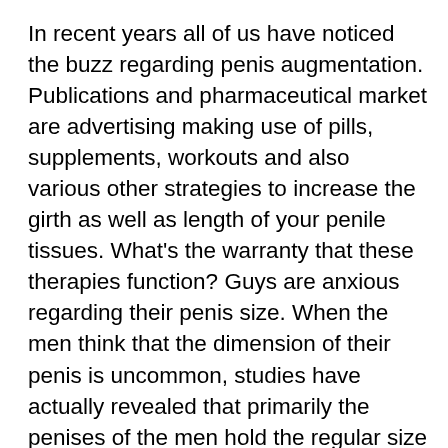In recent years all of us have noticed the buzz regarding penis augmentation. Publications and pharmaceutical market are advertising making use of pills, supplements, workouts and also various other strategies to increase the girth as well as length of your penile tissues. What's the warranty that these therapies function? Guys are anxious regarding their penis size. When the men think that the dimension of their penis is uncommon, studies have actually revealed that primarily the penises of the men hold the regular size and also they must not be concerned regarding it. Research studies claim that nearly 85% of ladies like larger penis over those who are tiny or of ordinary dimension. Bigger penis causes powerful